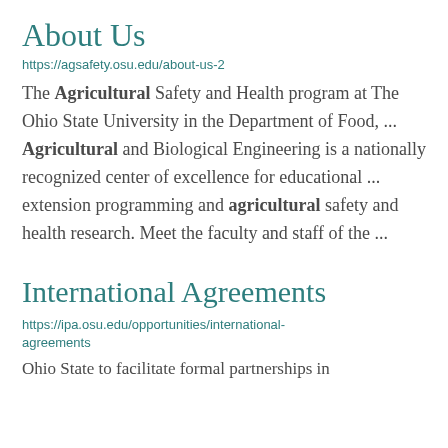About Us
https://agsafety.osu.edu/about-us-2
The Agricultural Safety and Health program at The Ohio State University in the Department of Food, ... Agricultural and Biological Engineering is a nationally recognized center of excellence for educational ... extension programming and agricultural safety and health research. Meet the faculty and staff of the ...
International Agreements
https://ipa.osu.edu/opportunities/international-agreements
Ohio State to facilitate formal partnerships in